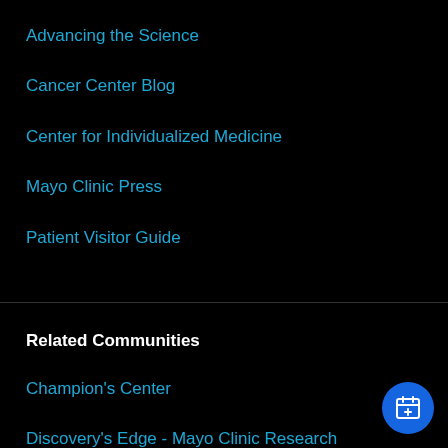Advancing the Science
Cancer Center Blog
Center for Individualized Medicine
Mayo Clinic Press
Patient Visitor Guide
Related Communities
Champion's Center
Discovery's Edge - Mayo Clinic Research
Mayo Clinic News Network